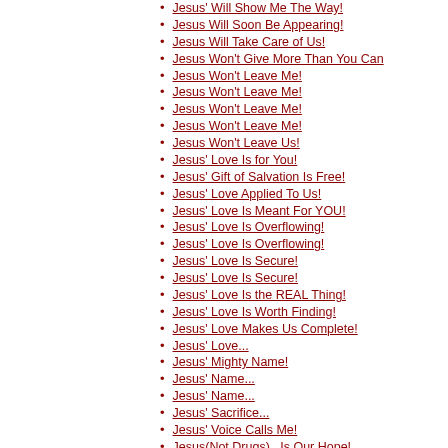Jesus' Will Show Me The Way!
Jesus Will Soon Be Appearing!
Jesus Will Take Care of Us!
Jesus Won't Give More Than You Can
Jesus Won't Leave Me!
Jesus Won't Leave Me!
Jesus Won't Leave Me!
Jesus Won't Leave Me!
Jesus Won't Leave Us!
Jesus' Love Is for You!
Jesus' Gift of Salvation Is Free!
Jesus' Love Applied To Us!
Jesus' Love Is Meant For YOU!
Jesus' Love Is Overflowing!
Jesus' Love Is Overflowing!
Jesus' Love Is Secure!
Jesus' Love Is Secure!
Jesus' Love Is the REAL Thing!
Jesus' Love Is Worth Finding!
Jesus' Love Makes Us Complete!
Jesus' Love...
Jesus' Mighty Name!
Jesus' Name...
Jesus' Name...
Jesus' Sacrifice...
Jesus' Voice Calls Me!
Jesus(Not Drugs)...Is Our Hope!
Jesus, I Do Love You!
Jesus, Be Jesus in Me!
Jesus, I Give You My Love!